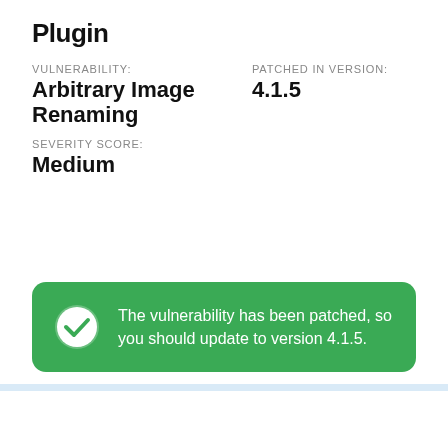Plugin
VULNERABILITY: Arbitrary Image Renaming   PATCHED IN VERSION: 4.1.5
SEVERITY SCORE: Medium
The vulnerability has been patched, so you should update to version 4.1.5.
7. WP RSS Aggregator
[Figure (screenshot): Screenshot showing 'Import RSS feeds and display them on your WordPress site' with orange border and RSS icon]